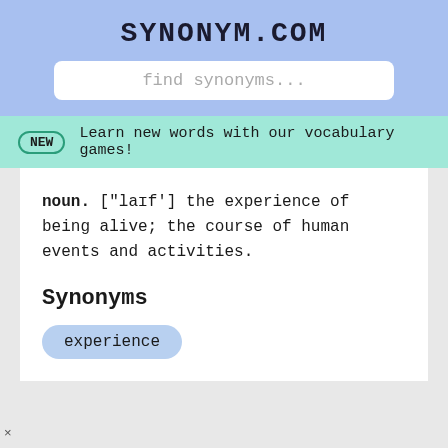SYNONYM.COM
find synonyms...
NEW  Learn new words with our vocabulary games!
noun. ["laɪf'] the experience of being alive; the course of human events and activities.
Synonyms
experience
×